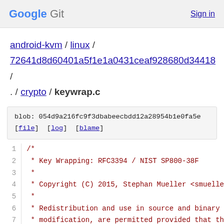Google Git   Sign in
android-kvm / linux / 72641d8d60401a5f1e1a0431ceaf928680d34418 / . / crypto / keywrap.c
blob: 054d9a216fc9f3dbabeecbdd12a28954b1e0fa5e
[file]  [log]  [blame]
1  /*
2   * Key Wrapping: RFC3394 / NIST SP800-38F
3   *
4   * Copyright (C) 2015, Stephan Mueller <smuelle
5   *
6   * Redistribution and use in source and binary
7   * modification, are permitted provided that th
8   * are met:
9   * 1. Redistributions of source code must retai
10  *    notice, and the entire permission notice